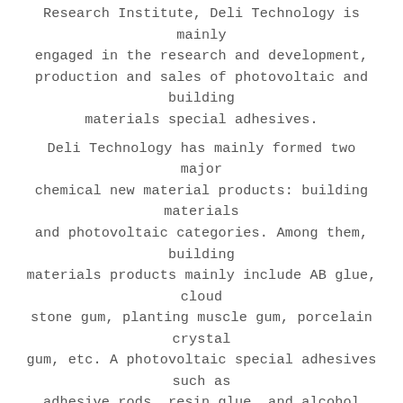Research Institute, Deli Technology is mainly engaged in the research and development, production and sales of photovoltaic and building materials special adhesives. Deli Technology has mainly formed two major chemical new material products: building materials and photovoltaic categories. Among them, building materials products mainly include AB glue, cloud stone gum, planting muscle gum, porcelain crystal gum, etc. A photovoltaic special adhesives such as adhesive rods, resin glue, and alcohol materials for cutting are mainly used in the fields of semiconductor electronics, photovoltaic and building materials industries. Customers in Deli Technology mainly include Lanti Technology, GCL Group, Longji Group and other large listing or Hong Kong and Taiwan joint venture